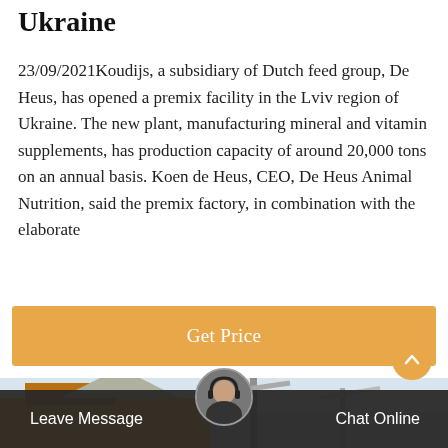Ukraine
23/09/2021Koudijs, a subsidiary of Dutch feed group, De Heus, has opened a premix facility in the Lviv region of Ukraine. The new plant, manufacturing mineral and vitamin supplements, has production capacity of around 20,000 tons on an annual basis. Koen de Heus, CEO, De Heus Animal Nutrition, said the premix factory, in combination with the elaborate
[Figure (other): Orange 'Get Price' button]
[Figure (photo): Industrial scene showing a yellow truck and crane structure against a light sky background]
[Figure (other): Dark chat bar at bottom with 'Leave Message' on left, customer service avatar in center, and 'Chat Online' on right]